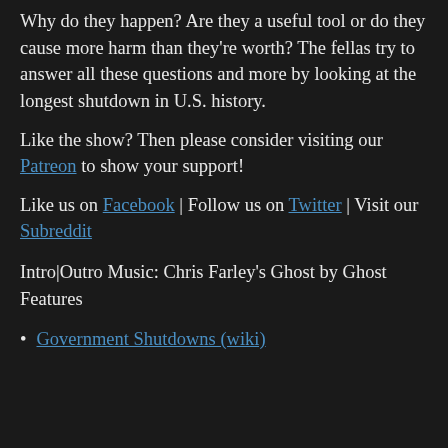Why do they happen? Are they a useful tool or do they cause more harm than they're worth? The fellas try to answer all these questions and more by looking at the longest shutdown in U.S. history.
Like the show? Then please consider visiting our Patreon to show your support!
Like us on Facebook | Follow us on Twitter | Visit our Subreddit
Intro|Outro Music: Chris Farley's Ghost by Ghost Features
Government Shutdowns (wiki)